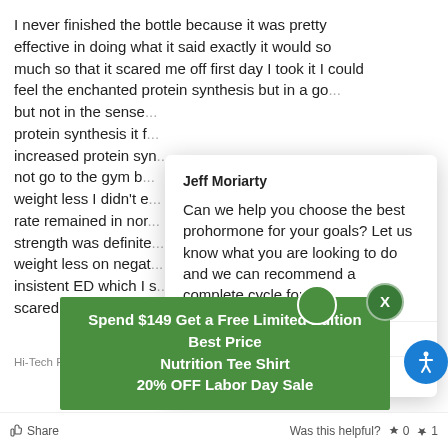I never finished the bottle because it was pretty effective in doing what it said exactly it would so much so that it scared me off first day I took it I could feel the enchanted protein synthesis but in a go... but not in the sense... protein synthesis it f... increased protein syn... not go to the gym b... weight less I didn't e... rate remained in nor... strength was definite... weight less on negat... insistent ED which I s... scared me was how...
[Figure (screenshot): Chat popup from Jeff Moriarty asking: Can we help you choose the best prohormone for your goals? Let us know what you are looking to do and we can recommend a complete cycle for you. Powered by gorgias. Click to reply input area.]
Who would you recommend this product to?
No
Hi-Tech Pharmaceuticals Decabolin 19Nor Andro 60CT
[Figure (infographic): Green promotional banner: Spend $149 Get a Free Limited Edition Best Price Nutrition Tee Shirt 20% OFF Labor Day Sale]
Share | Was this helpful? 👍 0 👎 1